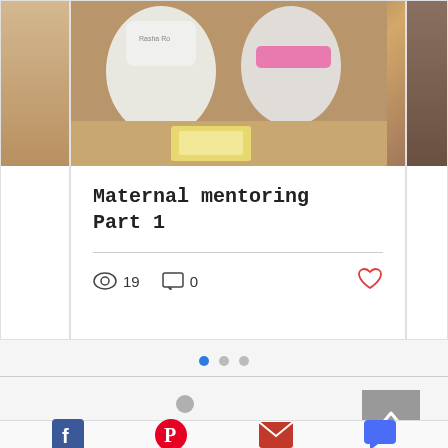[Figure (photo): Photo of children sitting on the floor, one wearing a white shirt with text and another wearing a pink headband/hat, appearing to look at a book or game on the floor]
Maternal mentoring Part 1
19 views · 0 comments · like button
[Figure (infographic): Carousel navigation dots: one blue (active), two gray]
[Figure (infographic): Back-to-top arrow button (gray square with upward chevron)]
[Figure (infographic): Social sharing icons row: Facebook, Pinterest, Email, Chat/Comment]